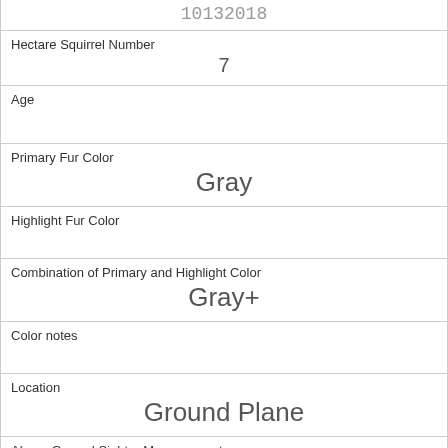| 10132018 |
| Hectare Squirrel Number | 7 |
| Age |  |
| Primary Fur Color | Gray |
| Highlight Fur Color |  |
| Combination of Primary and Highlight Color | Gray+ |
| Color notes |  |
| Location | Ground Plane |
| Above Ground Sighter Measurement | FALSE |
| Specific Location | "FIELD" |
| Running | 0 |